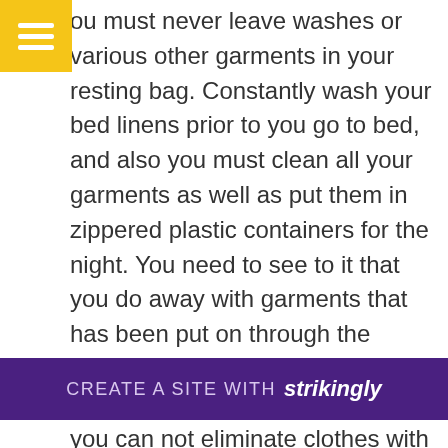[Figure (other): Yellow hamburger menu icon button in top-left corner]
ou must never leave washes or various other garments in your resting bag. Constantly wash your bed linens prior to you go to bed, and also you must clean all your garments as well as put them in zippered plastic containers for the night. You need to see to it that you do away with garments that has been put on through the evening, or that has been in your room for a long period of time. If you can not eliminate clothes with making use of cleaning equipments and also clothes dryers, you can utilize cold water as well as bleach to eliminate them. You should additionally neve ag beca this
[Figure (other): Purple promotional banner at bottom reading CREATE A SITE WITH strikingly]